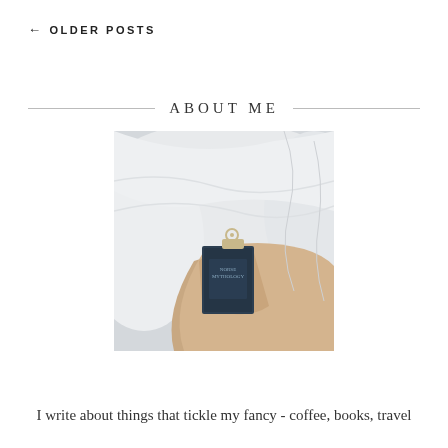← OLDER POSTS
ABOUT ME
[Figure (photo): A person lying in white bedding holding a small dark book titled 'Norse Mythology' with a key resting on top of it.]
I write about things that tickle my fancy - coffee, books, travel